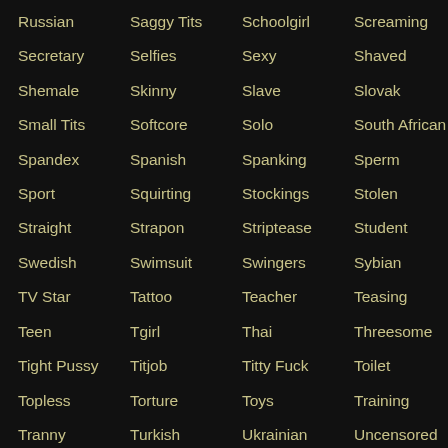Russian
Saggy Tits
Schoolgirl
Screaming
Secretary
Selfies
Sexy
Shaved
Shemale
Skinny
Slave
Slovak
Small Tits
Softcore
Solo
South African
Spandex
Spanish
Spanking
Sperm
Sport
Squirting
Stockings
Stolen
Straight
Strapon
Striptease
Student
Swedish
Swimsuit
Swingers
Sybian
TV Star
Tattoo
Teacher
Teasing
Teen
Tgirl
Thai
Threesome
Tight Pussy
Titjob
Titty Fuck
Toilet
Topless
Torture
Toys
Training
Tranny
Turkish
Ukrainian
Uncensored